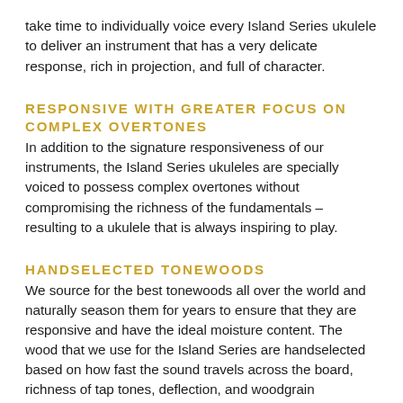take time to individually voice every Island Series ukulele to deliver an instrument that has a very delicate response, rich in projection, and full of character.
RESPONSIVE WITH GREATER FOCUS ON COMPLEX OVERTONES
In addition to the signature responsiveness of our instruments, the Island Series ukuleles are specially voiced to possess complex overtones without compromising the richness of the fundamentals – resulting to a ukulele that is always inspiring to play.
HANDSELECTED TONEWOODS
We source for the best tonewoods all over the world and naturally season them for years to ensure that they are responsive and have the ideal moisture content. The wood that we use for the Island Series are handselected based on how fast the sound travels across the board, richness of tap tones, deflection, and woodgrain